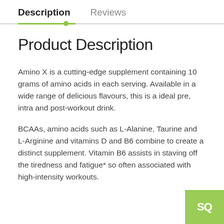Description   Reviews
Product Description
Amino X is a cutting-edge supplement containing 10 grams of amino acids in each serving. Available in a wide range of delicious flavours, this is a ideal pre, intra and post-workout drink.
BCAAs, amino acids such as L-Alanine, Taurine and L-Arginine and vitamins D and B6 combine to create a distinct supplement. Vitamin B6 assists in staving off the tiredness and fatigue* so often associated with high-intensity workouts.